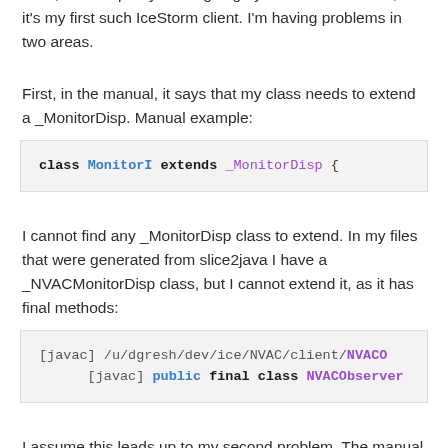Java, and I'm pretty much going by the manual on this, as it's my first such IceStorm client. I'm having problems in two areas.
First, in the manual, it says that my class needs to extend a _MonitorDisp. Manual example:
class MonitorI extends _MonitorDisp {
I cannot find any _MonitorDisp class to extend. In my files that were generated from slice2java I have a _NVACMonitorDisp class, but I cannot extend it, as it has final methods:
[javac] /u/dgresh/dev/ice/NVAC/client/NVACO
        [javac] public final class NVACObserver
I assume this leads up to my second problem. The manual states I need to declare a new Monitor object and instantiate it to my Client class: